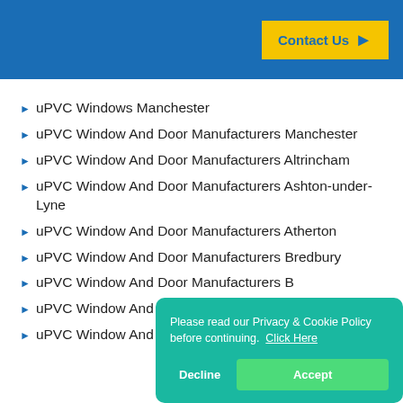[Figure (other): Blue banner with yellow 'Contact Us >' button]
uPVC Windows Manchester
uPVC Window And Door Manufacturers Manchester
uPVC Window And Door Manufacturers Altrincham
uPVC Window And Door Manufacturers Ashton-under-Lyne
uPVC Window And Door Manufacturers Atherton
uPVC Window And Door Manufacturers Bredbury
uPVC Window And Door Manufacturers B[...]
uPVC Window And Door Manufacturers B[...]
uPVC Window And Door Manufacturers Brinnington
Please read our Privacy & Cookie Policy before continuing.  Click Here
Decline
Accept